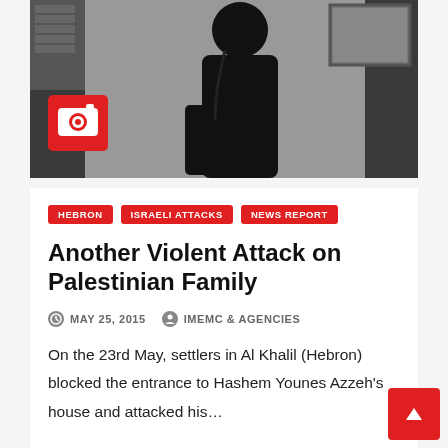[Figure (photo): Black and white photo of a person in dark clothing, with a red camera badge icon overlay in the lower-left corner of the image]
HEBRON
ISRAELI ATTACKS
NEWS REPORT
Another Violent Attack on Palestinian Family
MAY 25, 2015   IMEMC & AGENCIES
On the 23rd May, settlers in Al Khalil (Hebron) blocked the entrance to Hashem Younes Azzeh's house and attacked his…